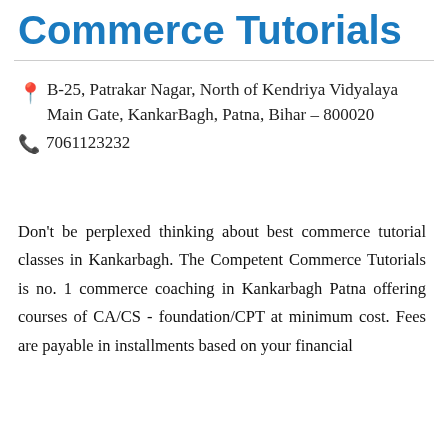Commerce Tutorials
B-25, Patrakar Nagar, North of Kendriya Vidyalaya Main Gate, KankarBagh, Patna, Bihar – 800020
7061123232
Don't be perplexed thinking about best commerce tutorial classes in Kankarbagh. The Competent Commerce Tutorials is no. 1 commerce coaching in Kankarbagh Patna offering courses of CA/CS - foundation/CPT at minimum cost. Fees are payable in installments based on your financial